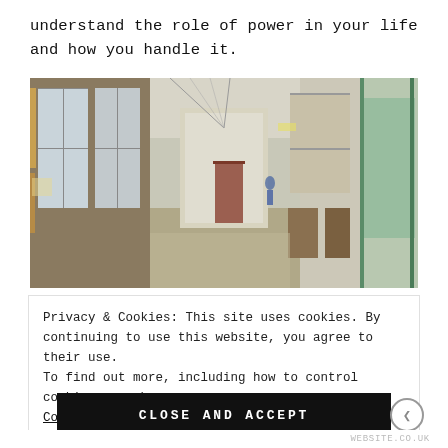understand the role of power in your life and how you handle it.
[Figure (photo): School hallway interior with large windows on the left, long corridor stretching to the back, lockers and doors on the right side, fluorescent lighting overhead, one or two people visible in the distance.]
Privacy & Cookies: This site uses cookies. By continuing to use this website, you agree to their use.
To find out more, including how to control cookies, see here: Cookie Policy
CLOSE AND ACCEPT
WEBSITE.CO.UK